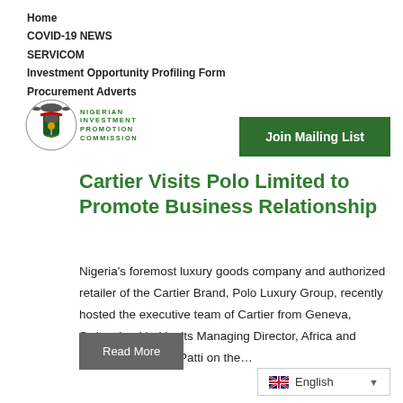Home
COVID-19 NEWS
SERVICOM
Investment Opportunity Profiling Form
Procurement Adverts
[Figure (logo): Nigerian Investment Promotion Commission logo with national coat of arms badge]
Join Mailing List
Cartier Visits Polo Limited to Promote Business Relationship
Nigeria's foremost luxury goods company and authorized retailer of the Cartier Brand, Polo Luxury Group, recently hosted the executive team of Cartier from Geneva, Switzerland led by its Managing Director, Africa and Israel, Alessandro Patti on the…
Read More
English